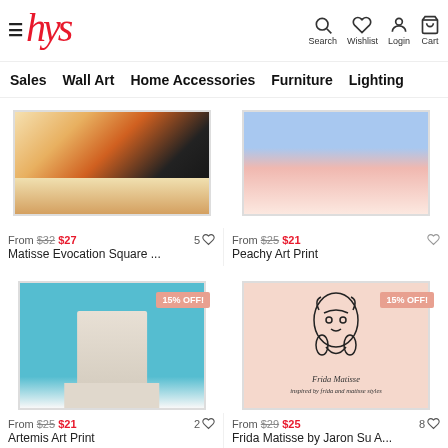Sales  Wall Art  Home Accessories  Furniture  Lighting
[Figure (photo): Partial view of Matisse Evocation Square art print showing colorful abstract shapes]
From $32 $27
Matisse Evocation Square ...
5 ♡
[Figure (photo): Partial view of Peachy Art Print showing pastel blue and pink tones]
From $25 $21
Peachy Art Print
♡
[Figure (photo): Artemis Art Print showing white classical statue on blue background with 15% OFF badge]
From $25 $21
Artemis Art Print
2 ♡
[Figure (photo): Frida Matisse by Jaron Su art print on pink background with line drawing of woman's face and 15% OFF badge]
From $29 $25
Frida Matisse by Jaron Su A...
8 ♡